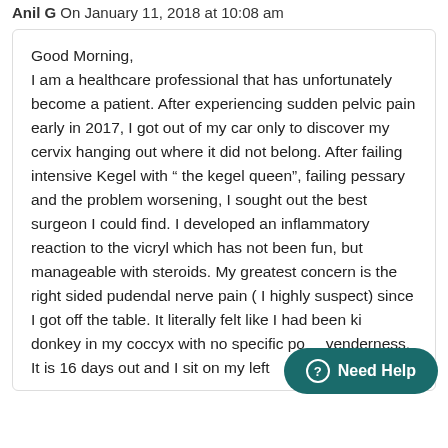Anil G On January 11, 2018 at 10:08 am
Good Morning,
I am a healthcare professional that has unfortunately become a patient. After experiencing sudden pelvic pain early in 2017, I got out of my car only to discover my cervix hanging out where it did not belong. After failing intensive Kegel with “ the kegel queen”, failing pessary and the problem worsening, I sought out the best surgeon I could find. I developed an inflammatory reaction to the vicryl which has not been fun, but manageable with steroids. My greatest concern is the right sided pudendal nerve pain ( I highly suspect) since I got off the table. It literally felt like I had been ki... donkey in my coccyx with no specific point yenderness. It is 16 days out and I sit on my left